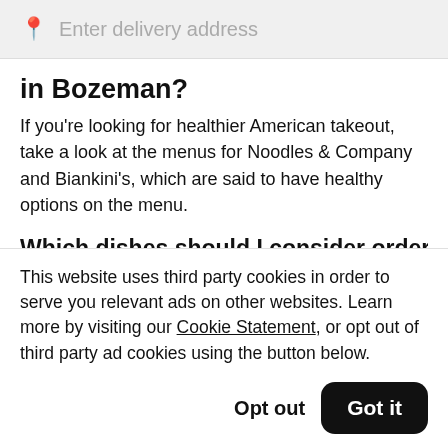Enter delivery address
in Bozeman?
If you’re looking for healthier American takeout, take a look at the menus for Noodles & Company and Biankini’s, which are said to have healthy options on the menu.
Which dishes should I consider ordering for
This website uses third party cookies in order to serve you relevant ads on other websites. Learn more by visiting our Cookie Statement, or opt out of third party ad cookies using the button below.